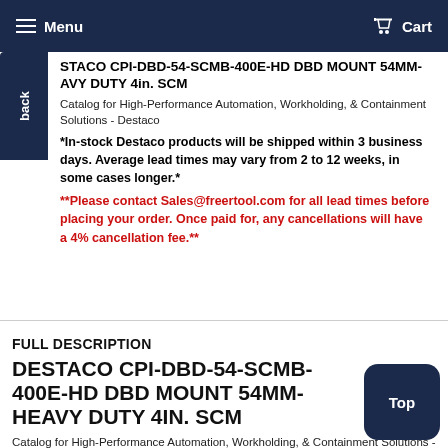Menu   Cart
DESTACO CPI-DBD-54-SCMB-400E-HD DBD MOUNT 54MM- HEAVY DUTY 4in. SCM
Catalog for High-Performance Automation, Workholding, & Containment Solutions - Destaco
*In-stock Destaco products will be shipped within 3 business days. Average lead times may vary from 2 to 12 weeks, in some cases longer.*
**Please contact Sales@freertool.com for all lead times before placing your order. Once paid for, any cancellations will have a 4% cancellation fee.**
FULL DESCRIPTION
DESTACO CPI-DBD-54-SCMB-400E-HD DBD MOUNT 54MM- HEAVY DUTY 4IN. SCM
Catalog for High-Performance Automation, Workholding, & Containment Solutions - Destaco